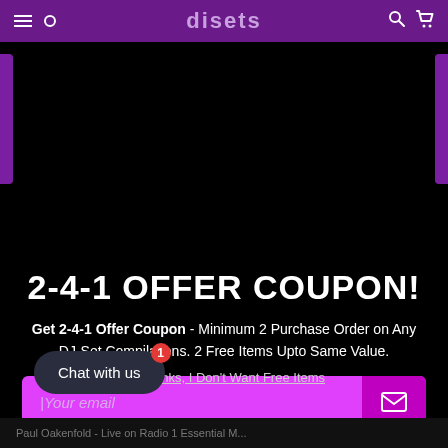disets
[Figure (screenshot): Dark modal overlay on a website, showing a purple-themed website header for 'disets' with navigation icons, over a black background with purple side bars]
2-4-1 OFFER COUPON!
Get 2-4-1 Offer Coupon - Minimum 2 Purchase Order on Any DJ-Set Compilations. 2 Free Items Upto Same Value.
Your email
No thanks, I Don't Want Free Items
Chat with us
Paul Oakenfold - Live on Radio 1 Essential M...